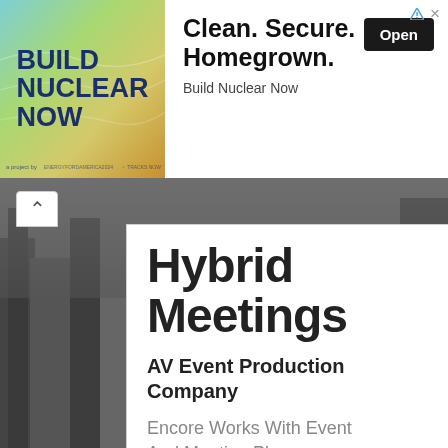[Figure (other): Top advertisement banner: Left side shows a teal/green/gold gradient background with 'BUILD NUCLEAR NOW' in bold dark blue text. Right side shows headline 'Clean. Secure. Homegrown.' with an 'Open' button and 'Build Nuclear Now' subtext. Sponsored icon top right.]
Hybrid Meetings
AV Event Production Company
Encore Works With Event And Meeting Planners, Marketers, And Exhibitors Around The World.
encoreglobal.com